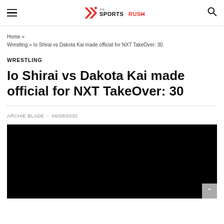The Sports Rush
Home » Wrestling » Io Shirai vs Dakota Kai made official for NXT TakeOver: 30
WRESTLING
Io Shirai vs Dakota Kai made official for NXT TakeOver: 30
ARCHIE BLADE - 06/08/2020
[Figure (photo): Black image placeholder for article photo]